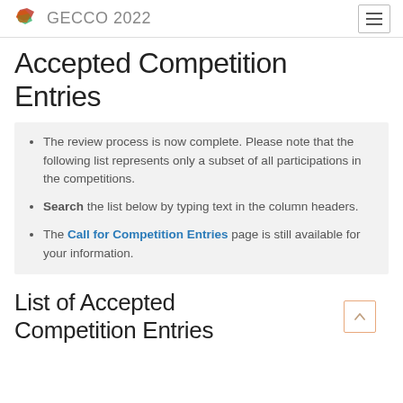GECCO 2022
Accepted Competition Entries
The review process is now complete. Please note that the following list represents only a subset of all participations in the competitions.
Search the list below by typing text in the column headers.
The Call for Competition Entries page is still available for your information.
List of Accepted Competition Entries